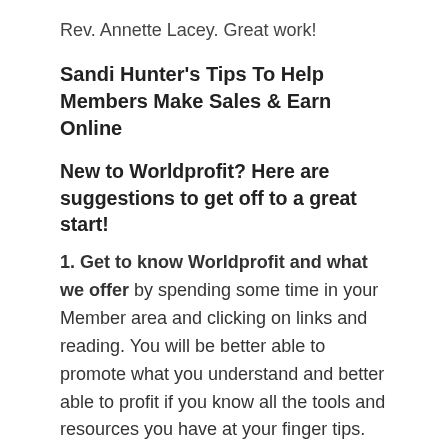Rev. Annette Lacey. Great work!
Sandi Hunter's Tips To Help Members Make Sales & Earn Online
New to Worldprofit? Here are suggestions to get off to a great start!
1. Get to know Worldprofit and what we offer by spending some time in your Member area and clicking on links and reading. You will be better able to promote what you understand and better able to profit if you know all the tools and resources you have at your finger tips. Be sure to review the Commission Chart so you know all the services and products you can earn commission, how much, as well as the Bonuses you can qualify to receive.
2. Join Worldprofit's Social Networking Community and